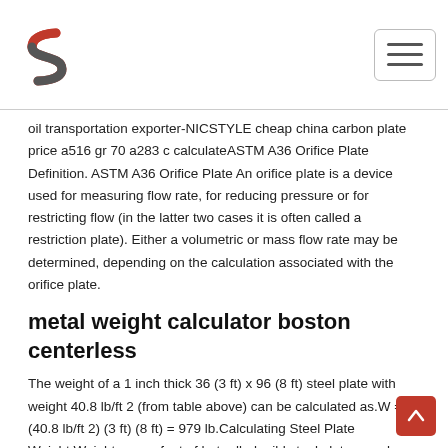[Logo: S-shaped steel mark] [Hamburger menu button]
oil transportation exporter-NICSTYLE cheap china carbon plate price a516 gr 70 a283 c calculateASTM A36 Orifice Plate Definition. ASTM A36 Orifice Plate An orifice plate is a device used for measuring flow rate, for reducing pressure or for restricting flow (in the latter two cases it is often called a restriction plate). Either a volumetric or mass flow rate may be determined, depending on the calculation associated with the orifice plate.
metal weight calculator boston centerless
The weight of a 1 inch thick 36 (3 ft) x 96 (8 ft) steel plate with weight 40.8 lb/ft 2 (from table above) can be calculated as.W = (40.8 lb/ft 2) (3 ft) (8 ft) = 979 lb.Calculating Steel Plate Weight.Weight per sq.feet of hot rolled mild steel plates can be calculated as.W = 40.8 t (1) where weight of aluminum bar-Steel/Al foil,plate/sheet cheap china carbon plate price a516 gr 70 a283 c calculate cheap asme sa203 gr b steel plate lab steel